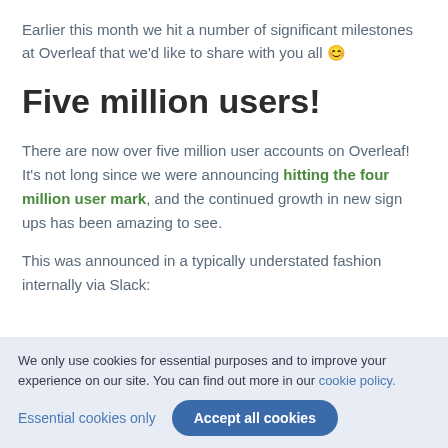Earlier this month we hit a number of significant milestones at Overleaf that we'd like to share with you all 😊
Five million users!
There are now over five million user accounts on Overleaf! It's not long since we were announcing hitting the four million user mark, and the continued growth in new sign ups has been amazing to see.
This was announced in a typically understated fashion internally via Slack:
We only use cookies for essential purposes and to improve your experience on our site. You can find out more in our cookie policy.
Essential cookies only
Accept all cookies